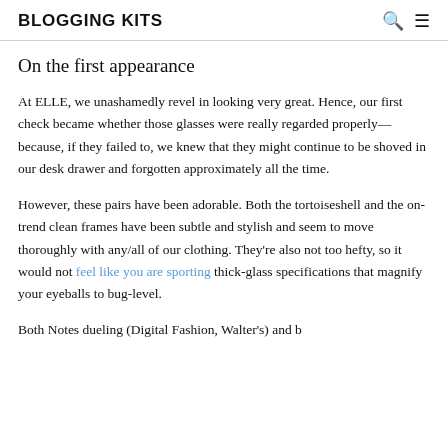BLOGGING KITS
On the first appearance
At ELLE, we unashamedly revel in looking very great. Hence, our first check became whether those glasses were really regarded properly—because, if they failed to, we knew that they might continue to be shoved in our desk drawer and forgotten approximately all the time.
However, these pairs have been adorable. Both the tortoiseshell and the on-trend clean frames have been subtle and stylish and seem to move thoroughly with any/all of our clothing. They're also not too hefty, so it would not feel like you are sporting thick-glass specifications that magnify your eyeballs to bug-level.
Both Notes dueling (Digital Fashion, Walter's) and b...